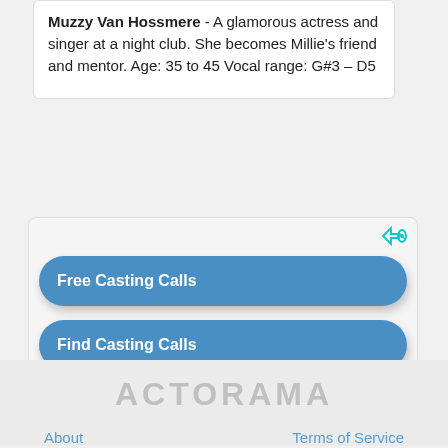Muzzy Van Hossmere - A glamorous actress and singer at a night club. She becomes Millie's friend and mentor. Age: 35 to 45 Vocal range: G#3 – D5
Free Casting Calls
Find Casting Calls
ACTORAMA
About
Terms of Service